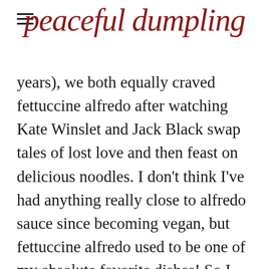peaceful dumpling
years), we both equally craved fettuccine alfredo after watching Kate Winslet and Jack Black swap tales of lost love and then feast on delicious noodles. I don't think I've had anything really close to alfredo sauce since becoming vegan, but fettuccine alfredo used to be one of my absolute favorite dishes! So I decided to recreate it vegan style with a slight twist. I added sage to this buttery, creamy, garlicky sauce and topped the dish with pomegranate seeds for a pop of color and sweetness. It was a hit!--and it wasn't too challenging to prepare. You don't even have to go